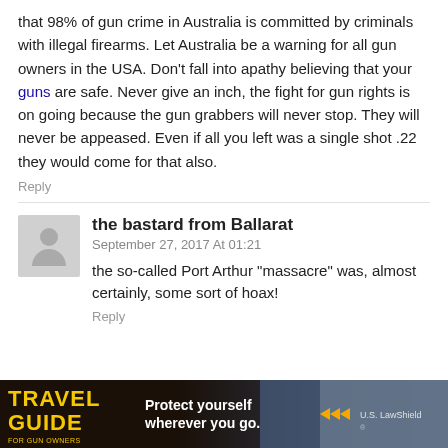that 98% of gun crime in Australia is committed by criminals with illegal firearms. Let Australia be a warning for all gun owners in the USA. Don't fall into apathy believing that your guns are safe. Never give an inch, the fight for gun rights is on going because the gun grabbers will never stop. They will never be appeased. Even if all you left was a single shot .22 they would come for that also.
Reply
the bastard from Ballarat
September 27, 2017 At 01:21
the so-called Port Arthur “massacre” was, almost certainly, some sort of hoax!
Reply
[Figure (photo): Advertisement banner for US LawShield Travel Guide for Gun Owners with text 'Protect yourself wherever you go.']